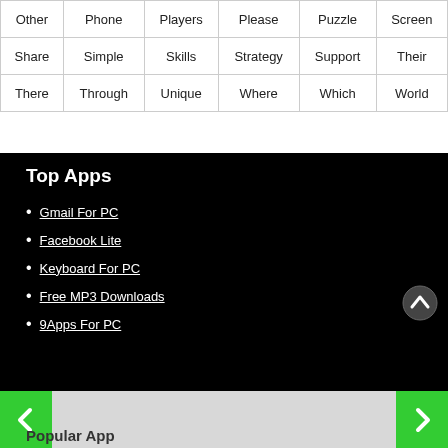| Other | Phone | Players | Please | Puzzle | Screen |
| Share | Simple | Skills | Strategy | Support | Their |
| There | Through | Unique | Where | Which | World |
Top Apps
Gmail For PC
Facebook Lite
Keyboard For PC
Free MP3 Downloads
9Apps For PC
< f t P G+ >